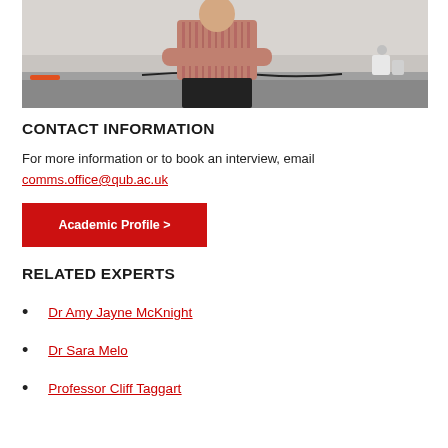[Figure (photo): Photo of a person in a striped shirt standing with arms crossed in a laboratory setting with equipment on a bench behind them]
CONTACT INFORMATION
For more information or to book an interview, email
comms.office@qub.ac.uk
Academic Profile >
RELATED EXPERTS
Dr Amy Jayne McKnight
Dr Sara Melo
Professor Cliff Taggart